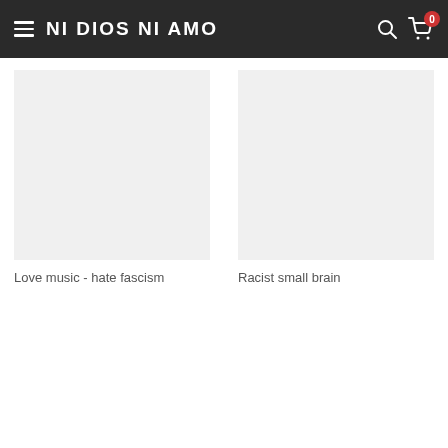NI DIOS NI AMO
Love music - hate fascism
Racist small brain